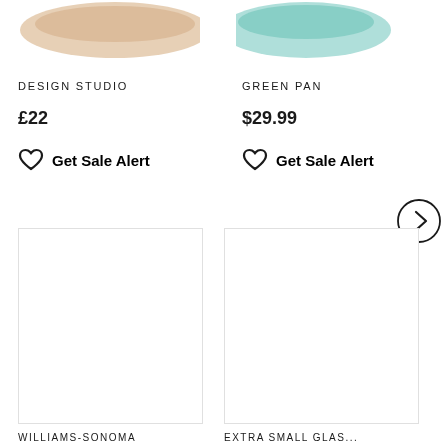[Figure (photo): Partial cropped product photo on left (tan/beige bowl) at top of page]
[Figure (photo): Partial cropped product photo on right (teal/green bowl) at top of page]
DESIGN STUDIO
£22
Get Sale Alert
GREEN PAN
$29.99
Get Sale Alert
[Figure (other): Next/right arrow navigation button circle]
[Figure (photo): White/blank product image card for Williams-Sonoma item]
WILLIAMS-SONOMA
[Figure (photo): White/blank product image card for Extra Small Glas... item]
EXTRA SMALL GLAS...